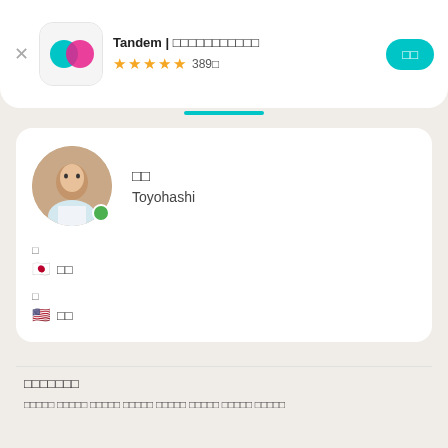Tandem | 언어교환 친구찾기 ★★★★☆ 389개
[Figure (screenshot): App store profile screenshot showing Tandem language exchange app with user profile, name, location Toyohashi, native Japanese, learning English]
Toyohashi
🇯🇵 일본어
🇺🇸 영어
자기소개
언어 교환 텍스트 내용